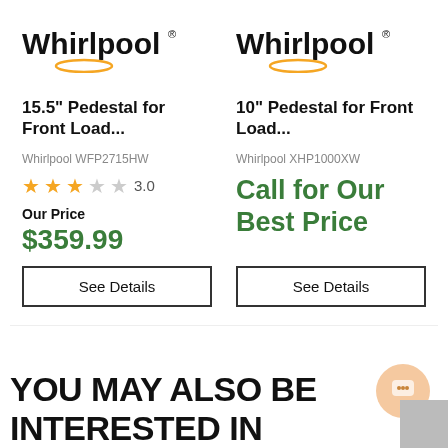[Figure (logo): Whirlpool logo - left product]
15.5" Pedestal for Front Load...
Whirlpool WFP2715HW
3.0 stars rating
Our Price $359.99
See Details
[Figure (logo): Whirlpool logo - right product]
10" Pedestal for Front Load...
Whirlpool XHP1000XW
Call for Our Best Price
See Details
YOU MAY ALSO BE INTERESTED IN